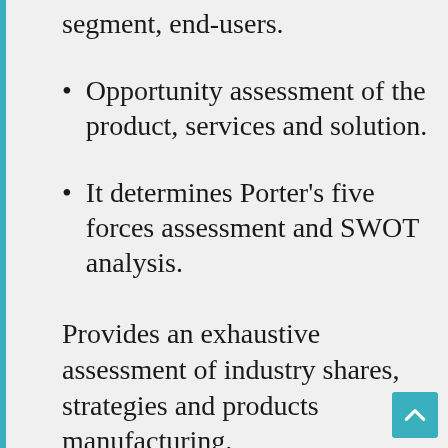segment, end-users.
Opportunity assessment of the product, services and solution.
It determines Porter's five forces assessment and SWOT analysis.
Provides an exhaustive assessment of industry shares, strategies and products manufacturing.